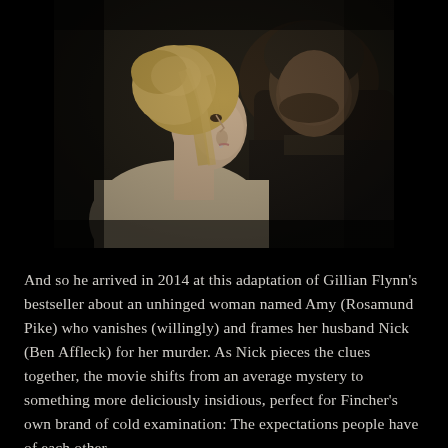[Figure (photo): A cinematic still from Gone Girl (2014) showing two people in close proximity — a blonde woman in the foreground looking to the right, and a dark-haired man in the background looking downward. The image has a dark, moody, warm-toned aesthetic.]
And so he arrived in 2014 at this adaptation of Gillian Flynn's bestseller about an unhinged woman named Amy (Rosamund Pike) who vanishes (willingly) and frames her husband Nick (Ben Affleck) for her murder. As Nick pieces the clues together, the movie shifts from an average mystery to something more deliciously insidious, perfect for Fincher's own brand of cold examination: The expectations people have of each other